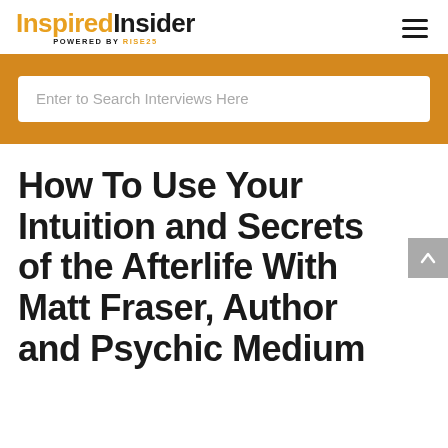InspiredInsider POWERED BY RISE25
[Figure (screenshot): Search bar with placeholder text 'Enter to Search Interviews Here' on a gold/amber background]
How To Use Your Intuition and Secrets of the Afterlife With Matt Fraser, Author and Psychic Medium